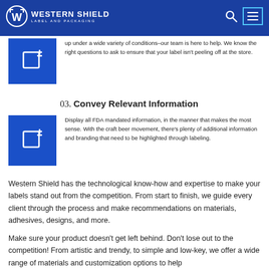Western Shield Label and Packaging
up under a wide variety of conditions–our team is here to help. We know the right questions to ask to ensure that your label isn't peeling off at the store.
03. Convey Relevant Information
Display all FDA mandated information, in the manner that makes the most sense. With the craft beer movement, there's plenty of additional information and branding that need to be highlighted through labeling.
Western Shield has the technological know-how and expertise to make your labels stand out from the competition. From start to finish, we guide every client through the process and make recommendations on materials, adhesives, designs, and more.
Make sure your product doesn't get left behind. Don't lose out to the competition! From artistic and trendy, to simple and low-key, we offer a wide range of materials and customization options to help